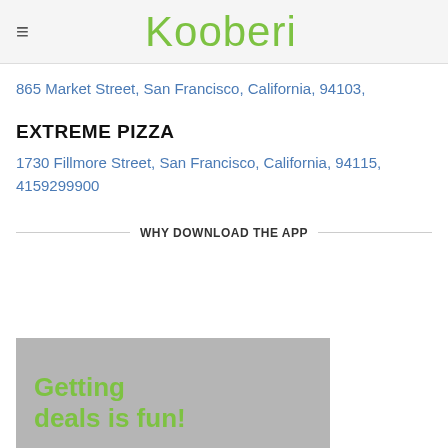Kooberi
865 Market Street, San Francisco, California, 94103,
EXTREME PIZZA
1730 Fillmore Street, San Francisco, California, 94115, 4159299900
WHY DOWNLOAD THE APP
[Figure (illustration): Promotional banner with gray background and green bold text reading 'Getting deals is fun!']